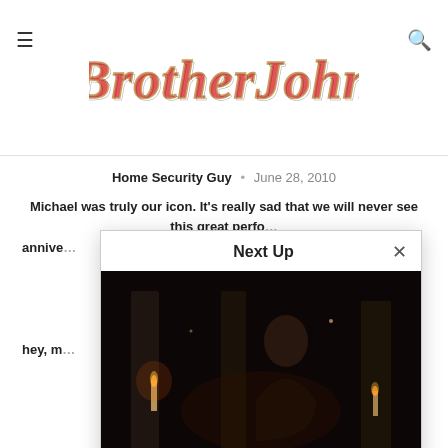BrotherJohn [logo]
Home Security Guy • June 28, 2010
Michael was truly our icon. It's really sad that we will never see this great perfo... annive...
[Figure (screenshot): Next Up modal overlay showing a dark candlelit scene with a figure, titled 'Satan Taught Me… Jesus Mastered Me' by Brother John • May 7, 2010]
hey, m...